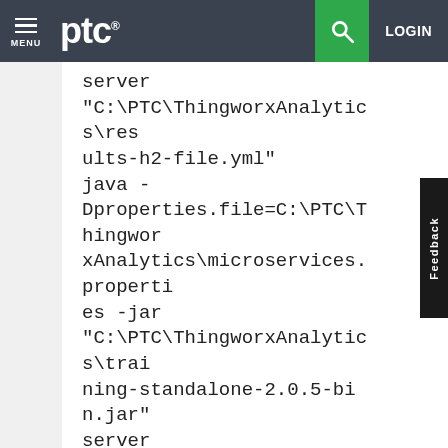PTC — MENU | LOGIN
server "C:\PTC\ThingworxAnalytics\results-h2-file.yml" java -Dproperties.file=C:\PTC\ThingworxAnalytics\microservices.properties -jar "C:\PTC\ThingworxAnalytics\training-standalone-2.0.5-bin.jar" server "C:\PTC\ThingworxAnalytics\training-standalone-single.yml"
Please let me know if you need anything else.